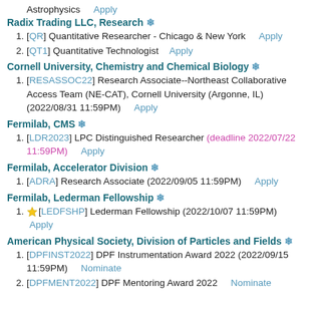Astrophysics   Apply
Radix Trading LLC, Research ❄
[QR] Quantitative Researcher - Chicago & New York   Apply
[QT1] Quantitative Technologist   Apply
Cornell University, Chemistry and Chemical Biology ❄
[RESASSOC22] Research Associate--Northeast Collaborative Access Team (NE-CAT), Cornell University (Argonne, IL) (2022/08/31 11:59PM)   Apply
Fermilab, CMS ❄
[LDR2023] LPC Distinguished Researcher (deadline 2022/07/22 11:59PM)   Apply
Fermilab, Accelerator Division ❄
[ADRA] Research Associate (2022/09/05 11:59PM)   Apply
Fermilab, Lederman Fellowship ❄
⭐[LEDFSHP] Lederman Fellowship (2022/10/07 11:59PM)   Apply
American Physical Society, Division of Particles and Fields ❄
[DPFINST2022] DPF Instrumentation Award 2022 (2022/09/15 11:59PM)   Nominate
[DPFMENT2022] DPF Mentoring Award 2022   Nominate